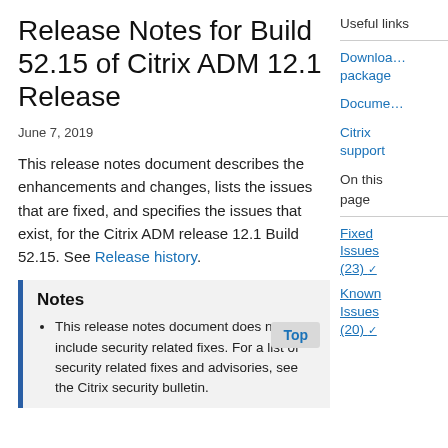Release Notes for Build 52.15 of Citrix ADM 12.1 Release
June 7, 2019
This release notes document describes the enhancements and changes, lists the issues that are fixed, and specifies the issues that exist, for the Citrix ADM release 12.1 Build 52.15. See Release history.
Notes
This release notes document does not include security related fixes. For a list of security related fixes and advisories, see the Citrix security bulletin.
Useful links
Download package
Documentation
Citrix support
On this page
Fixed Issues (23)
Known Issues (20)